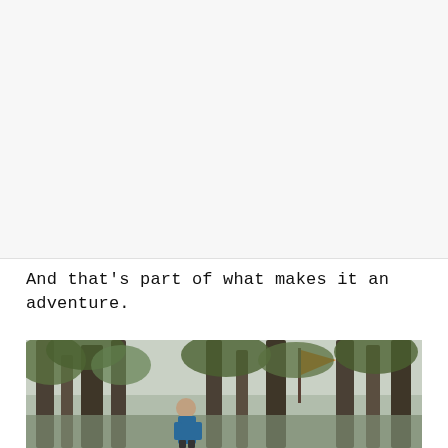[Figure (other): Blank/white upper portion of the page, likely continuation from previous page content area]
And that's part of what makes it an adventure.
[Figure (photo): Outdoor photograph of a man standing among trees in a forest, with an orange orienteering flag marker visible hanging from a tree. The scene appears to be an orienteering or adventure race event.]